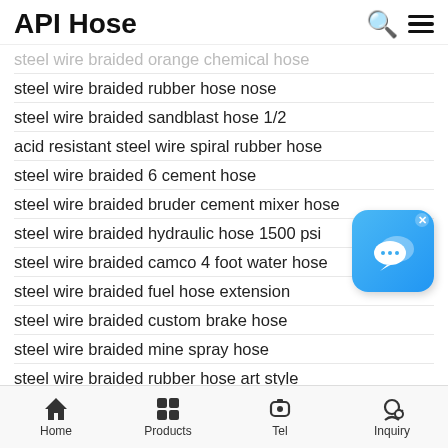API Hose
steel wire braided orange chemical hose
steel wire braided rubber hose nose
steel wire braided sandblast hose 1/2
acid resistant steel wire spiral rubber hose
steel wire braided 6 cement hose
steel wire braided bruder cement mixer hose
steel wire braided hydraulic hose 1500 psi
steel wire braided camco 4 foot water hose
steel wire braided fuel hose extension
steel wire braided custom brake hose
steel wire braided mine spray hose
steel wire braided rubber hose art style
steel wire braided 1 id epdm hose
steel wire braided ptfe hose for gasoline
steel wire braided 2 x 10' discharge hose
steel wire braided 2 steam hose fittings
[Figure (illustration): Blue chat/messaging app icon with speech bubble, with an X close button in the top right corner]
Home  Products  Tel  Inquiry